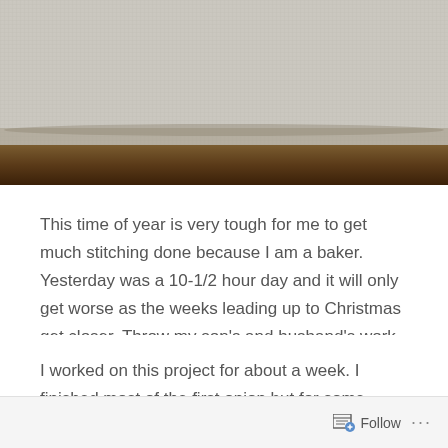[Figure (photo): Photo of white fabric/canvas material resting on a dark wooden surface, viewed from close up]
This time of year is very tough for me to get much stitching done because I am a baker. Yesterday was a 10-1/2 hour day and it will only get worse as the weeks leading up to Christmas get closer. Throw my son's and husband's work schedules and basketball schedule in there and well...you know what I mean.
I worked on this project for about a week. I finished most of the first onion but for some reason was obsessed with finishing the black negative space of the project.
Follow ...